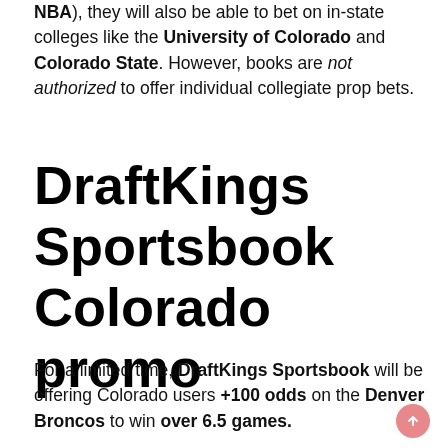NBA), they will also be able to bet on in-state colleges like the University of Colorado and Colorado State. However, books are not authorized to offer individual collegiate prop bets.
DraftKings Sportsbook Colorado promo
For a limited time, DraftKings Sportsbook will be offering Colorado users +100 odds on the Denver Broncos to win over 6.5 games.